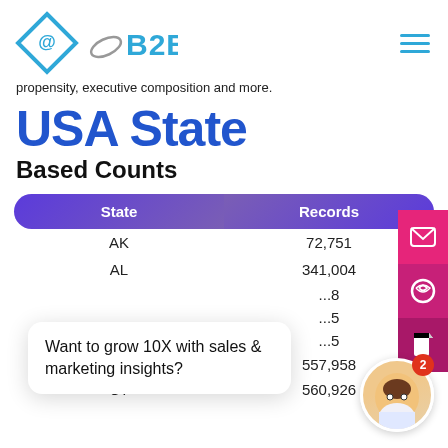[Figure (logo): @B2B company logo with diamond shape and stylized text]
propensity, executive composition and more.
USA State
Based Counts
| State | Records |
| --- | --- |
| AK | 72,751 |
| AL | 341,004 |
|  | ...8 |
|  | ...5 |
|  | ...5 |
| CO | 557,958 |
| CT | 560,926 |
Want to grow 10X with sales & marketing insights?